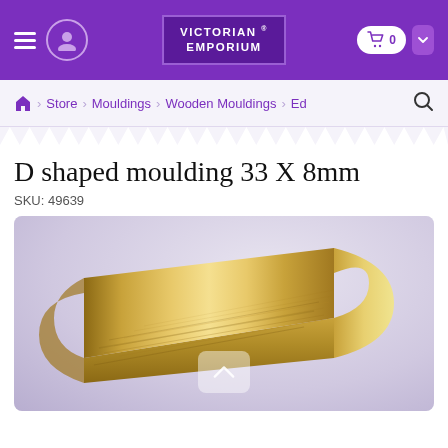Victorian Emporium — navigation bar with hamburger, user icon, logo, cart
Store > Mouldings > Wooden Mouldings > Ed
D shaped moulding 33 X 8mm
SKU: 49639
[Figure (photo): D-shaped wooden moulding 33x8mm shown in perspective view, natural pine finish, on a light grey background with a semi-transparent up-arrow control overlay]